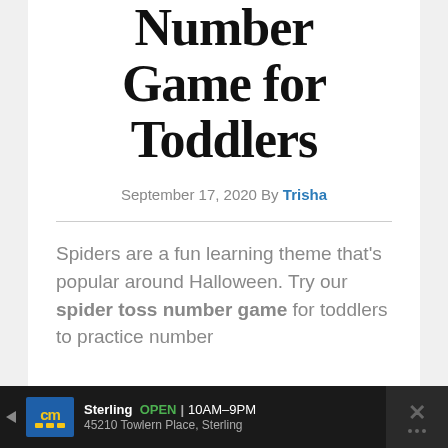Number Game for Toddlers
September 17, 2020 By Trisha
Spiders are a fun learning theme that's popular around Halloween. Try our spider toss number game for toddlers to practice number